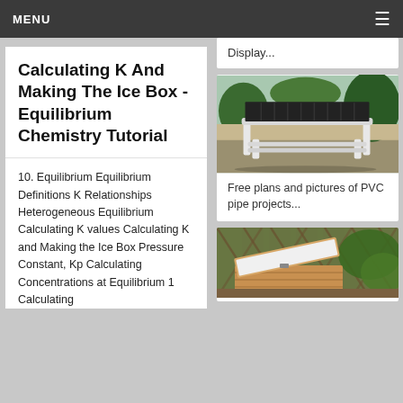MENU
Calculating K And Making The Ice Box - Equilibrium Chemistry Tutorial
10. Equilibrium Equilibrium Definitions K Relationships Heterogeneous Equilibrium Calculating K values Calculating K and Making the Ice Box Pressure Constant, Kp Calculating Concentrations at Equilibrium 1 Calculating
Display...
[Figure (photo): Photo of a PVC pipe table/rack outdoors on gravel with plants in background]
Free plans and pictures of PVC pipe projects...
[Figure (photo): Photo of a wooden cooler box with open lid, placed against a lattice fence with plants]